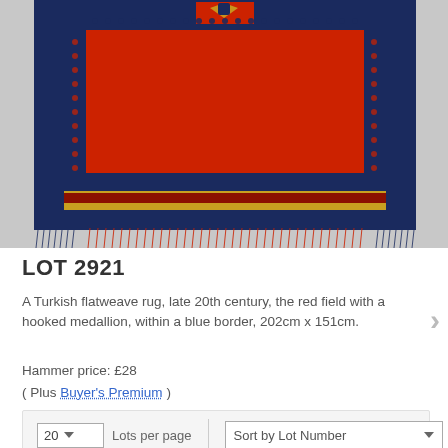[Figure (photo): A Turkish flatweave rug with a red field, hooked medallion, and blue border with fringe, photographed on a grey floor.]
LOT 2921
A Turkish flatweave rug, late 20th century, the red field with a hooked medallion, within a blue border, 202cm x 151cm.
Hammer price: £28
( Plus Buyer's Premium )